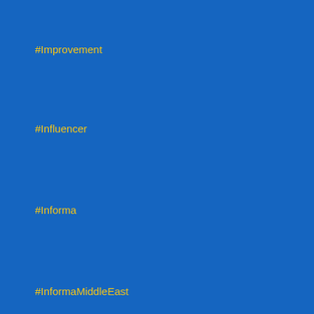#Improvement
#Influencer
#Informa
#InformaMiddleEast
#InformationSecurity
#InformationTechnology
#InformationTechnology
#InfoSec
#InfoSecSpeaker